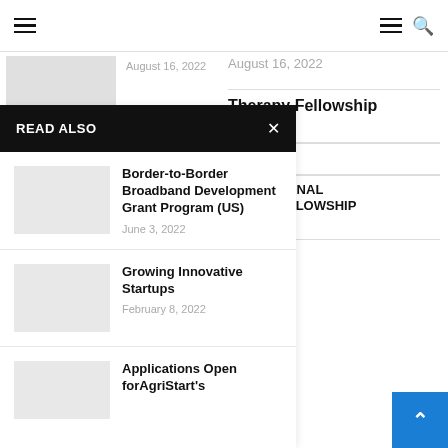Navigation header with hamburger menu and search icon
August 16, 2022
Therapy Fellowship
, 2022
, 2022
NGRESSIONAL ATION FELLOWSHIP
, 2022
READ ALSO
Border-to-Border Broadband Development Grant Program (US)
June 3, 2022
Growing Innovative Startups
February 8, 2022
Applications Open forAgriStart's